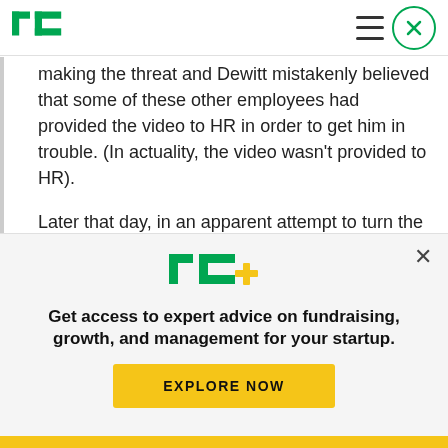TechCrunch
making the threat and Dewitt mistakenly believed that some of these other employees had provided the video to HR in order to get him in trouble. (In actuality, the video wasn't provided to HR).
Later that day, in an apparent attempt to turn the tables on the complaint that he thought had been made against him, Dewitt filed a complaint with HR about these other employees, claiming it was they
[Figure (logo): TC+ logo — TechCrunch Plus branding with green TC and yellow plus sign]
Get access to expert advice on fundraising, growth, and management for your startup.
EXPLORE NOW